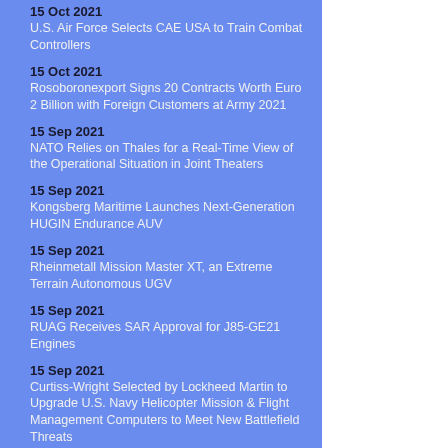15 Oct 2021
U.S. Air Force Selects CAE USA to Train Combat Controllers
15 Oct 2021
Rosoboronexport Signs 20 Contracts Worth Euro 2 Billion with Foreign Customers at Army 2021
15 Sep 2021
NATO Relies on Thales for a Real-Time View of the Operational Situation in Joint Theaters
15 Sep 2021
Kongsberg Maritime Launches Next-Generation HUGIN Endurance AUV
15 Sep 2021
Rheinmetall Mission Master XT, an Extreme Terrain Autonomous UGV
15 Sep 2021
RUAG Receives SAR Approval for J85-GE21 Engines
15 Sep 2021
Curtiss-Wright Selected by Lockheed Martin to Upgrade U.S. Navy Helicopter Mission & Flight Management Computers to Meet New Battlefield Threats
15 Sep 2021